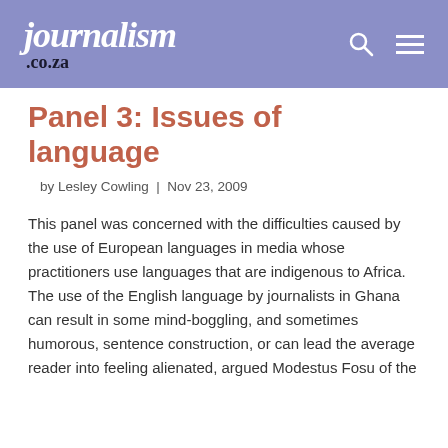journalism .co.za
Panel 3: Issues of language
by Lesley Cowling | Nov 23, 2009
This panel was concerned with the difficulties caused by the use of European languages in media whose practitioners use languages that are indigenous to Africa. The use of the English language by journalists in Ghana can result in some mind-boggling, and sometimes humorous, sentence construction, or can lead the average reader into feeling alienated, argued Modestus Fosu of the